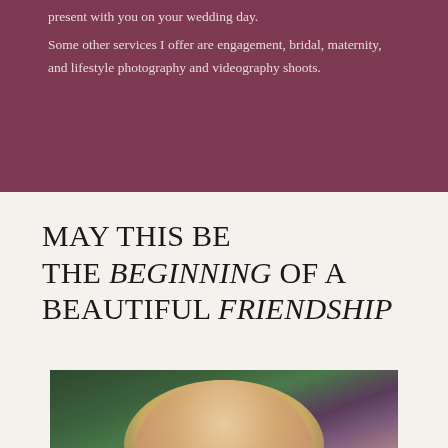present with you on your wedding day.

Some other services I offer are engagement, bridal, maternity, and lifestyle photography and videography shoots.
MAY THIS BE THE BEGINNING OF A BEAUTIFUL FRIENDSHIP
[Figure (photo): Smiling blonde woman outdoors with purple lavender flowers and green foliage in the background]